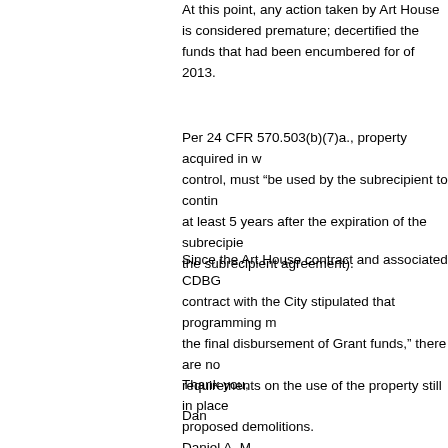At this point, any action taken by Art House is considered premature; decertified the funds that had been encumbered for the project at the end of 2013.
Per 24 CFR 570.503(b)(7)a., property acquired in whole, or in part, with CDBG funds, or improved with CDBG funds, and owned by the subrecipient, must “be used by the subrecipient to continue to carry out the activity for at least 5 years after the expiration of the subrecipient agreement (or a longer period, if specified in the subrecipient agreement).
Since the Art House contract and associated CDBG funds expired, and the contract with the City stipulated that programming must continue for “2 years from the final disbursement of Grant funds,” there are no continuing use requirements on the use of the property still in place that would prohibit proposed demolitions.
Thank you,
Dan
Daniel A. M...